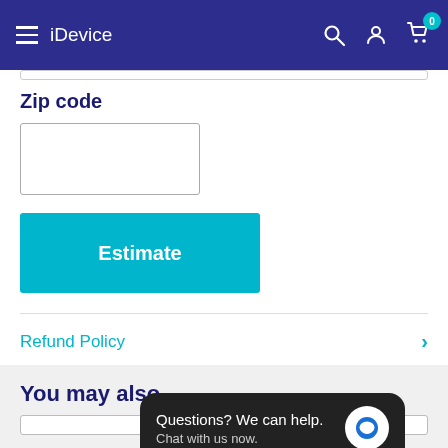iDevice
Zip code
Estimate
Refund Policy
You may also
Questions? We can help. Chat with us now.